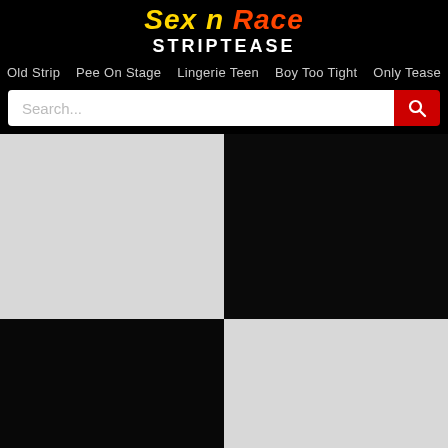Sex n Race STRIPTEASE
Old Strip  Pee On Stage  Lingerie Teen  Boy Too Tight  Only Tease
[Figure (screenshot): Search bar with white input field and red search button with magnifying glass icon]
[Figure (photo): Light gray placeholder thumbnail (top-left)]
[Figure (photo): Dark/black thumbnail with barely visible figure (top-right)]
[Figure (photo): Dark/black thumbnail with barely visible figure (bottom-left)]
[Figure (photo): Light gray placeholder thumbnail (bottom-right)]